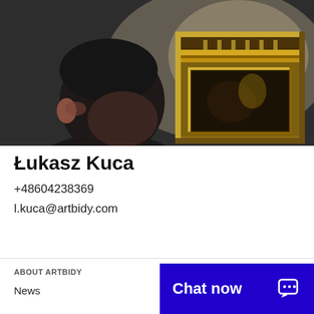[Figure (photo): A person viewed from behind/side looking at an ornate gilded picture frame in a gallery setting. Dark background with warm lighting on the frame.]
Łukasz Kuca
+48604238369
l.kuca@artbidy.com
ABOUT ARTBIDY
News
Chat now